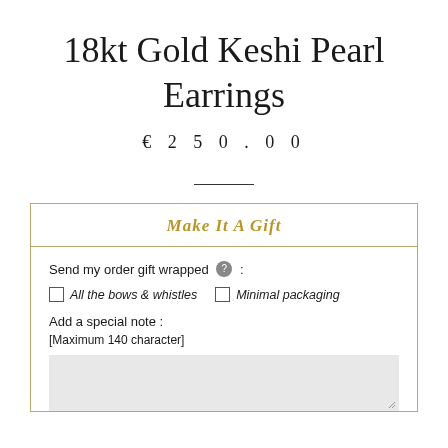18kt Gold Keshi Pearl Earrings
€250.00
Make It A Gift
Send my order gift wrapped :
All the bows & whistles
Minimal packaging
Add a special note :
[Maximum 140 character]